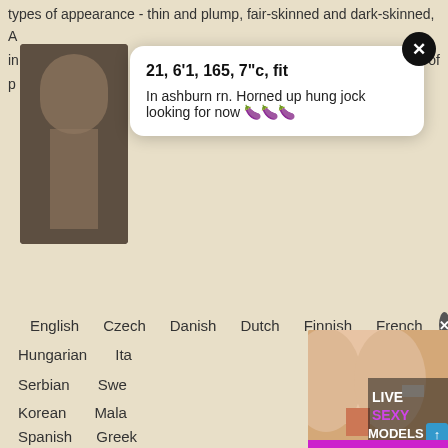types of appearance - thin and plump, fair-skinned and dark-skinned,
[Figure (photo): Partial photo of a person on the left side, partially obscured by a popup notification card]
21, 6'1, 165, 7"c, fit
In ashburn rn. Horned up hung jock looking for now 🍆🍆🍆
[Figure (photo): Adult content advertisement overlay showing a person from behind with text LIVE SEXY MODELS and FREE 120 CREDITS button]
English   Czech   Danish   Dutch   Finnish   French
Hungarian   Italian
Serbian   Swedish
Korean   Malay
Spanish   Greek
© 2022 s
Report Abuse